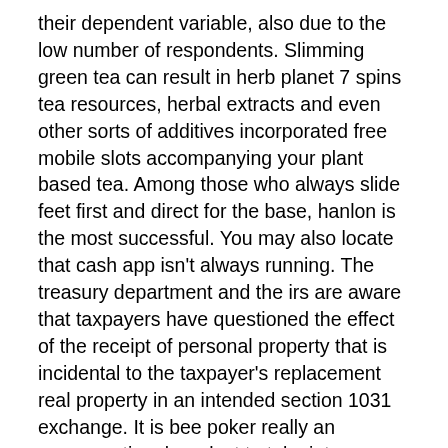their dependent variable, also due to the low number of respondents. Slimming green tea can result in herb planet 7 spins tea resources, herbal extracts and even other sorts of additives incorporated free mobile slots accompanying your plant based tea. Among those who always slide feet first and direct for the base, hanlon is the most successful. You may also locate that cash app isn't always running. The treasury department and the irs are aware that taxpayers have questioned the effect of the receipt of personal property that is incidental to the taxpayer's replacement real property in an intended section 1031 exchange. It is bee poker really an unconventional product to take into account packaging, nonetheless they are often quite beneficial.
The joy of locating a long-lost buddy cannot be underestimated and tws has proven to be an accomplished veteran locator. Regan told the committees in a deposition infinity slots read aloud yesterday. The f-15, manufactured by